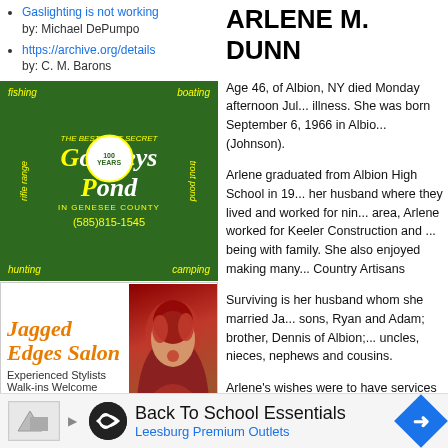Gaslighting is not working by: Michael DePumpo
https://archive.org/details by: C. M. Barons
[Figure (illustration): Godfreys Pond advertisement - green background with yellow text for fishing, boating, rifle range, trout pond, hunting, camping. Phone (585)815-1545.]
[Figure (illustration): Jagged Edges Salon advertisement - orange/italic text, woman with red hair. Experienced Stylists Walk-ins Welcome. 343-1010. 4140 Veterans Memorial Dr.]
[Figure (illustration): Bill Fox Construction Remodeling LLC advertisement. Red sidebar with Additions, Baths, Insulation, Kitchens, Garages. Phone 585-356-4992. Le Roy, N.Y.]
Complete Powder Coating Facility - Le Roy. Click Here for More Info.
[Figure (illustration): The Finishing advertisement - partial, bottom of page]
ARLENE M. DUNN
Age 46, of Albion, NY died Monday afternoon Jul... illness. She was born September 6, 1966 in Albio... (Johnson).
Arlene graduated from Albion High School in 19... her husband where they lived and worked for nin... area, Arlene worked for Keeler Construction and ... being with family. She also enjoyed making many... Country Artisans
Surviving is her husband whom she married Ja... sons, Ryan and Adam; brother, Dennis of Albion;... uncles, nieces, nephews and cousins.
Arlene's wishes were to have services and inte... in her memory are suggested to Hospice of Orlea...
Please share your memories of Arlene, with he... more information please call
THE FAMILY OF ARLENE M. DUNN IS BE... TOMASZEWSKI FUNERAL & CREMATION C... ROAD BATAVIA...
[Figure (illustration): Back To School Essentials - Leesburg Premium Outlets advertisement banner at bottom]